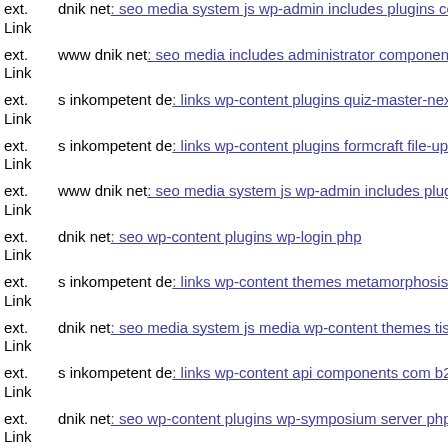ext. Link dnik net: seo media system js wp-admin includes plugins conte
ext. Link www dnik net: seo media includes administrator components c
ext. Link s inkompetent de: links wp-content plugins quiz-master-next re
ext. Link s inkompetent de: links wp-content plugins formcraft file-uploa
ext. Link www dnik net: seo media system js wp-admin includes plugins
ext. Link dnik net: seo wp-content plugins wp-login php
ext. Link s inkompetent de: links wp-content themes metamorphosis tim
ext. Link dnik net: seo media system js media wp-content themes tisa sty
ext. Link s inkompetent de: links wp-content api components com b2jcon
ext. Link dnik net: seo wp-content plugins wp-symposium server php s i
ext. Link s inkompetent de: links wordpress wp-content plugins cherry-p